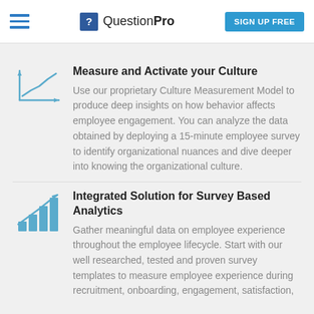QuestionPro — SIGN UP FREE
Measure and Activate your Culture
Use our proprietary Culture Measurement Model to produce deep insights on how behavior affects employee engagement. You can analyze the data obtained by deploying a 15-minute employee survey to identify organizational nuances and dive deeper into knowing the organizational culture.
Integrated Solution for Survey Based Analytics
Gather meaningful data on employee experience throughout the employee lifecycle. Start with our well researched, tested and proven survey templates to measure employee experience during recruitment, onboarding, engagement, satisfaction,